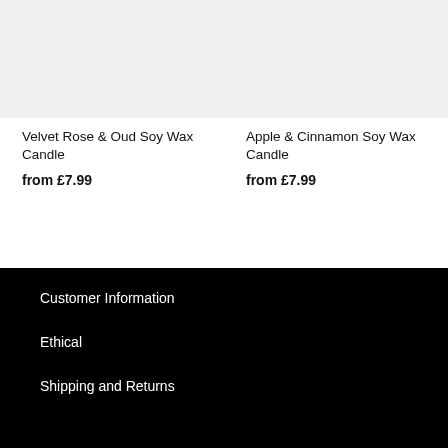[Figure (photo): Product image placeholder for Velvet Rose & Oud Soy Wax Candle (light grey box)]
Velvet Rose & Oud Soy Wax Candle
from £7.99
[Figure (photo): Product image placeholder for Apple & Cinnamon Soy Wax Candle (light grey box)]
Apple & Cinnamon Soy Wax Candle
from £7.99
Customer Information
Ethical
Shipping and Returns